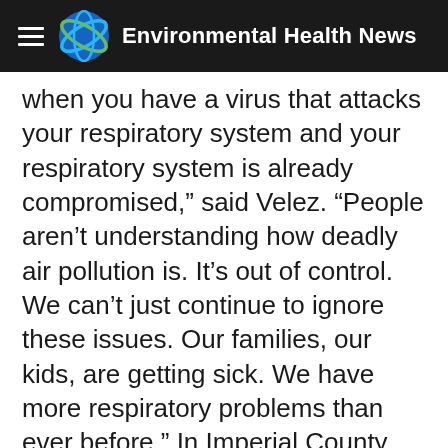Environmental Health News
when you have a virus that attacks your respiratory system and your respiratory system is already compromised,” said Velez. “People aren’t understanding how deadly air pollution is. It’s out of control. We can’t just continue to ignore these issues. Our families, our kids, are getting sick. We have more respiratory problems than ever before.” In Imperial County, where 85% of residents are Hispanic, there were 5,255 deaths from Covid-19 per million compared to 2,390 deaths per million statewide, according to the